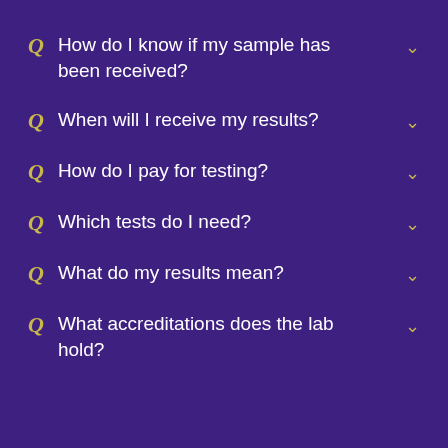Q How do I know if my sample has been received?
Q When will I receive my results?
Q How do I pay for testing?
Q Which tests do I need?
Q What do my results mean?
Q What accreditations does the lab hold?